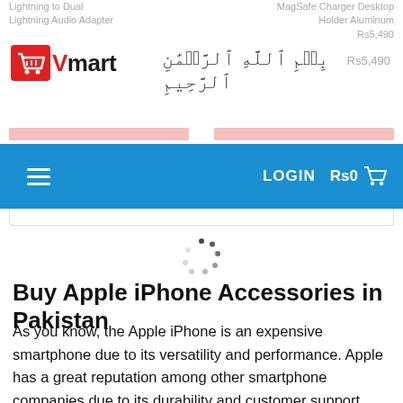Lightning to Dual Lightning Audio Adapter
MagSafe Charger Desktop Holder Aluminum
Rs5,490
[Figure (logo): Vmart logo with red shopping cart icon and bold text, alongside Arabic Bismillah calligraphy]
[Figure (screenshot): Blue navigation bar with hamburger menu, LOGIN button, Rs0 and shopping cart icon]
[Figure (infographic): Circular loading spinner (dots arranged in a circle)]
Buy Apple iPhone Accessories in Pakistan
As you know, the Apple iPhone is an expensive smartphone due to its versatility and performance. Apple has a great reputation among other smartphone companies due to its durability and customer support. When you buy an iPhone, you need some other stuff with it like a charging adapter, handsfree, and more. You can shop for iPhone accessories in Pakistan from Vmart.pk without any issues from here. Vmart.pk is a top-rated online selling brand for all types of